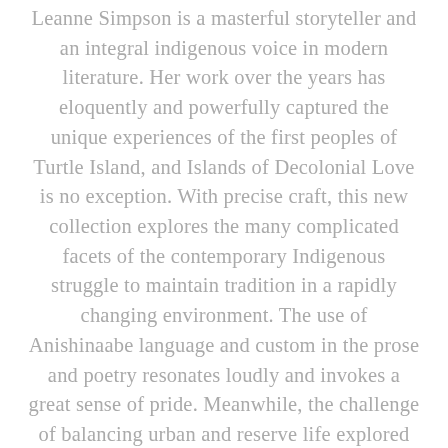Leanne Simpson is a masterful storyteller and an integral indigenous voice in modern literature. Her work over the years has eloquently and powerfully captured the unique experiences of the first peoples of Turtle Island, and Islands of Decolonial Love is no exception. With precise craft, this new collection explores the many complicated facets of the contemporary Indigenous struggle to maintain tradition in a rapidly changing environment. The use of Anishinaabe language and custom in the prose and poetry resonates loudly and invokes a great sense of pride. Meanwhile, the challenge of balancing urban and reserve life explored in the pieces is easily relatable and can provide a crucial window into the experience for non-Indigenous readers. The power of Simpson's storytelling is already spectacular on the printed